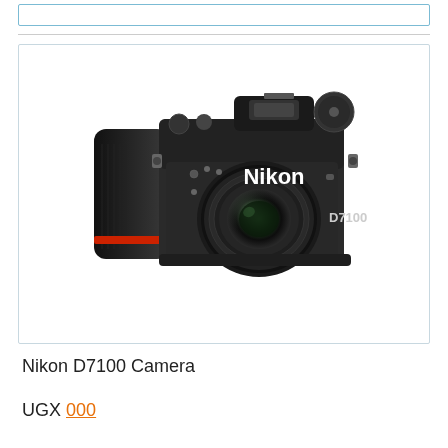[Figure (photo): Nikon D7100 DSLR camera with lens, front view, on white background]
Nikon D7100 Camera
UGX 000